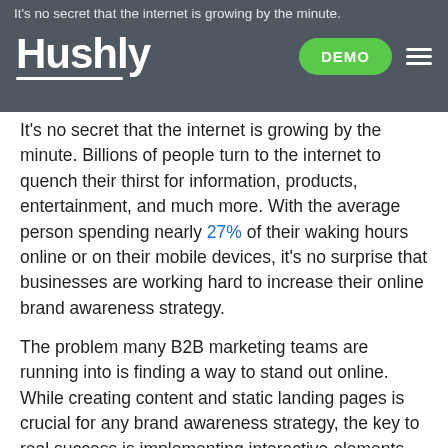[Figure (screenshot): Hushly website navigation bar with logo, green DEMO button, and hamburger menu icon on a dark semi-transparent background]
It's no secret that the internet is growing by the minute. Billions of people turn to the internet to quench their thirst for information, products, entertainment, and much more. With the average person spending nearly 27% of their waking hours online or on their mobile devices, it's no surprise that businesses are working hard to increase their online brand awareness strategy.
The problem many B2B marketing teams are running into is finding a way to stand out online. While creating content and static landing pages is crucial for any brand awareness strategy, the key to real success is implementing interactive elements into the mix.
Your Brand Awareness Strategy is Essential
Your brand awareness strategy is essential to the growth of your business. It's the main driving force behind